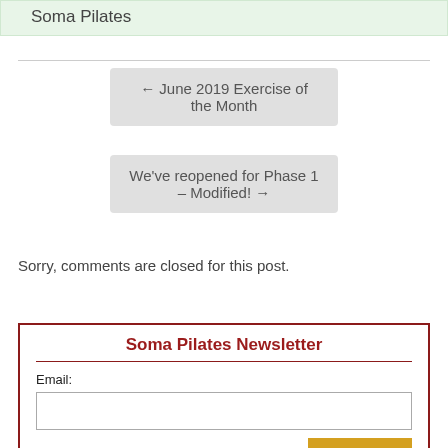Soma Pilates
← June 2019 Exercise of the Month
We've reopened for Phase 1 – Modified! →
Sorry, comments are closed for this post.
Soma Pilates Newsletter
Email: